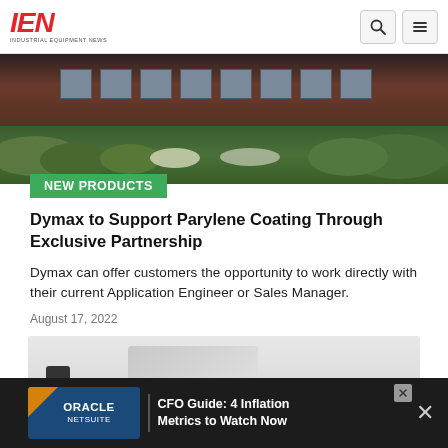[Figure (screenshot): IEN (Industrial Equipment News) website header with red italic IEN logo on left and search/menu icon buttons on right]
[Figure (photo): Exterior photo of a brick building with green foliage and landscaping in the foreground]
NEW PRODUCTS
Dymax to Support Parylene Coating Through Exclusive Partnership
Dymax can offer customers the opportunity to work directly with their current Application Engineer or Sales Manager.
August 17, 2022
[Figure (photo): Partial view of a product image on light gray background]
[Figure (screenshot): Oracle NetSuite advertisement banner: CFO Guide: 4 Inflation Metrics to Watch Now]